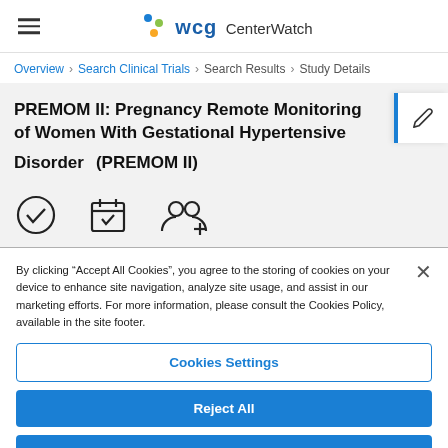WCG CenterWatch
Overview > Search Clinical Trials > Search Results > Study Details
PREMOM II: Pregnancy Remote Monitoring of Women With Gestational Hypertensive Disorders (PREMOM II)
[Figure (screenshot): Cookie consent banner with Cookies Settings, Reject All, and Accept All Cookies buttons]
By clicking “Accept All Cookies”, you agree to the storing of cookies on your device to enhance site navigation, analyze site usage, and assist in our marketing efforts. For more information, please consult the Cookies Policy, available in the site footer.